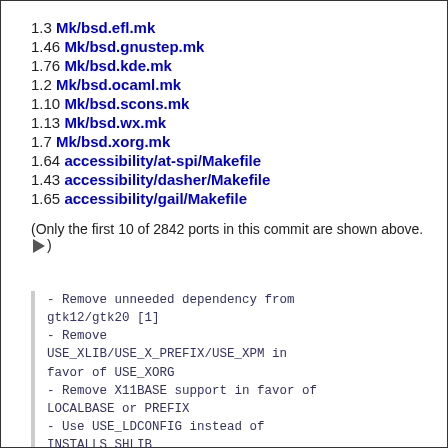1.3 Mk/bsd.efl.mk
1.46 Mk/bsd.gnustep.mk
1.76 Mk/bsd.kde.mk
1.2 Mk/bsd.ocaml.mk
1.10 Mk/bsd.scons.mk
1.13 Mk/bsd.wx.mk
1.7 Mk/bsd.xorg.mk
1.64 accessibility/at-spi/Makefile
1.43 accessibility/dasher/Makefile
1.65 accessibility/gail/Makefile
(Only the first 10 of 2842 ports in this commit are shown above. ▶)
- Remove unneeded dependency from gtk12/gtk20 [1]
- Remove USE_XLIB/USE_X_PREFIX/USE_XPM in favor of USE_XORG
- Remove X11BASE support in favor of LOCALBASE or PREFIX
- Use USE_LDCONFIG instead of INSTALLS_SHLIB
- Remove unneeded USE_GCC 3.4+

Thanks to all Helpers:
        Dmitry Marakasov, Chess Griffin, beech@, dinoex, rafan, gahr,